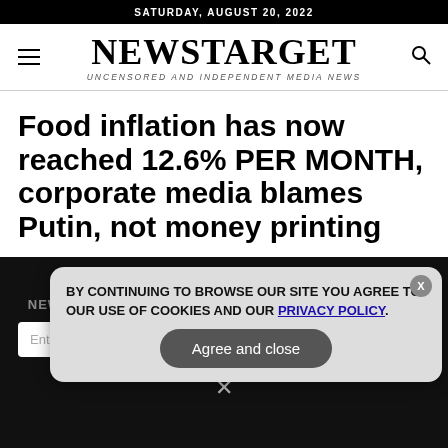SATURDAY, AUGUST 20, 2022
NEWSTARGET
UNCENSORED AND INDEPENDENT MEDIA NEWS
Food inflation has now reached 12.6% PER MONTH, corporate media blames Putin, not money printing
GET THE WORLD'S MOST INDEPENDENT MEDIA NEWSLETTER DELIVERED STRAIGHT TO YOUR INBOX.
BY CONTINUING TO BROWSE OUR SITE YOU AGREE TO OUR USE OF COOKIES AND OUR PRIVACY POLICY.
Agree and close